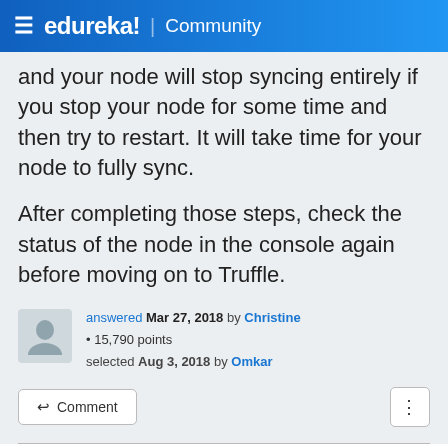edureka! Community
and your node will stop syncing entirely if you stop your node for some time and then try to restart. It will take time for your node to fully sync.
After completing those steps, check the status of the node in the console again before moving on to Truffle.
answered Mar 27, 2018 by Christine • 15,790 points selected Aug 3, 2018 by Omkar
Comment
Thank you. I tried it and it's working
commented Aug 3, 2018 by Perry